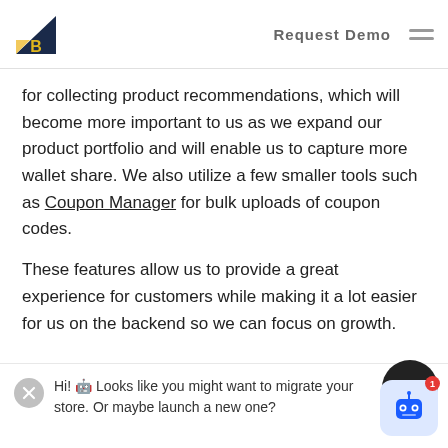Request Demo
for collecting product recommendations, which will become more important to us as we expand our product portfolio and will enable us to capture more wallet share. We also utilize a few smaller tools such as Coupon Manager for bulk uploads of coupon codes.
These features allow us to provide a great experience for customers while making it a lot easier for us on the backend so we can focus on growth.
Hi! 🤖 Looks like you might want to migrate your store. Or maybe launch a new one?